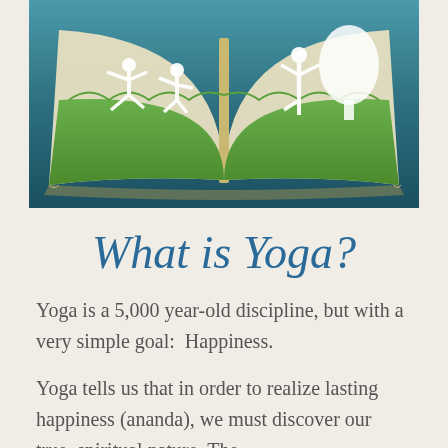[Figure (photo): An open book with pages covered in green grass, with white silhouettes of yoga poses (standing, warrior, tree pose) emerging from the pages against a teal/blue-gray background.]
What is Yoga?
Yoga is a 5,000 year-old discipline, but with a very simple goal:  Happiness.
Yoga tells us that in order to realize lasting happiness (ananda), we must discover our true, spiritual nature. The